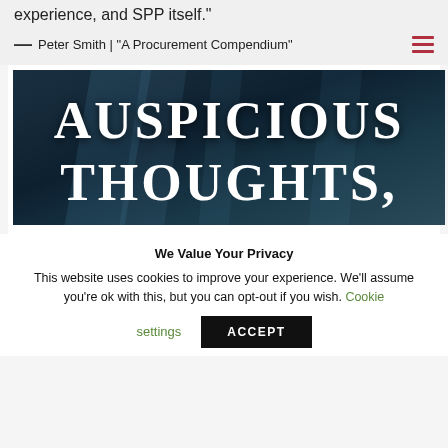experience, and SPP itself."
— Peter Smith | "A Procurement Compendium"
[Figure (photo): Book cover image with dark teal background and diagonal architectural lines, displaying the text 'AUSPICIOUS THOUGHTS,' in large white serif letters]
We Value Your Privacy
This website uses cookies to improve your experience. We'll assume you're ok with this, but you can opt-out if you wish. Cookie settings
ACCEPT